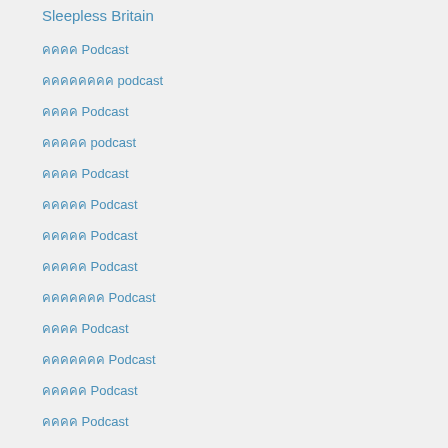Sleepless Britain
คคคค Podcast
คคคคคคคค podcast
คคคค Podcast
คคคคค podcast
คคคค Podcast
คคคคค Podcast
คคคคค Podcast
คคคคค Podcast
คคคคคคค Podcast
คคคค Podcast
คคคคคคค Podcast
คคคคค Podcast
คคคค Podcast
คคคคคค Podcast